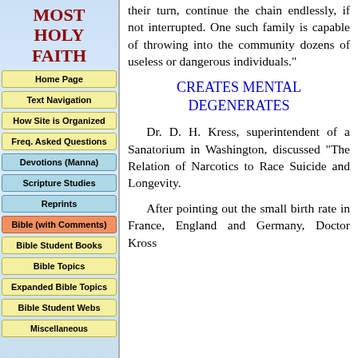MOST HOLY FAITH
Home Page
Text Navigation
How Site is Organized
Freq. Asked Questions
Devotions (Manna)
Scripture Studies
Reprints
Bible (with Comments)
Bible Student Books
Bible Topics
Expanded Bible Topics
Bible Student Webs
Miscellaneous
their turn, continue the chain endlessly, if not interrupted. One such family is capable of throwing into the community dozens of useless or dangerous individuals."
CREATES MENTAL DEGENERATES
Dr. D. H. Kress, superintendent of a Sanatorium in Washington, discussed "The Relation of Narcotics to Race Suicide and Longevity.
After pointing out the small birth rate in France, England and Germany, Doctor Kross